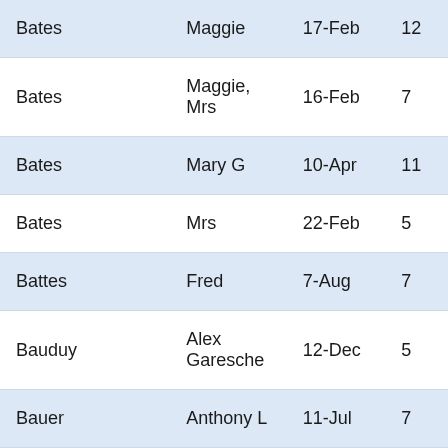| Bates | Maggie | 17-Feb | 12 |
| Bates | Maggie, Mrs | 16-Feb | 7 |
| Bates | Mary G | 10-Apr | 11 |
| Bates | Mrs | 22-Feb | 5 |
| Battes | Fred | 7-Aug | 7 |
| Bauduy | Alex Garesche | 12-Dec | 5 |
| Bauer | Anthony L | 11-Jul | 7 |
| Bauer | Frank | 9-Feb | 7 |